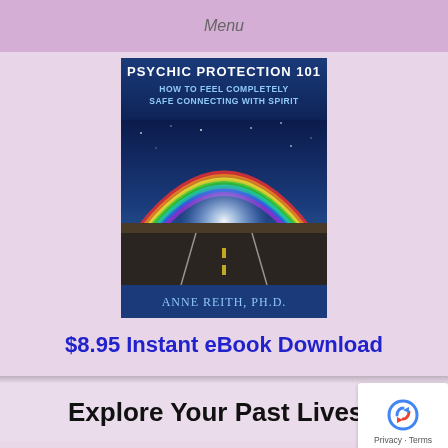Menu
[Figure (illustration): Book cover for 'Psychic Protection 101: How to Feel Completely Safe Connecting with Spirit' by Anne Reith, Ph.D. Depicts a rainbow over a road with mystical light effects on a dark blue/teal sky background.]
$8.95 Instant eBook Download
Explore Your Past Lives!